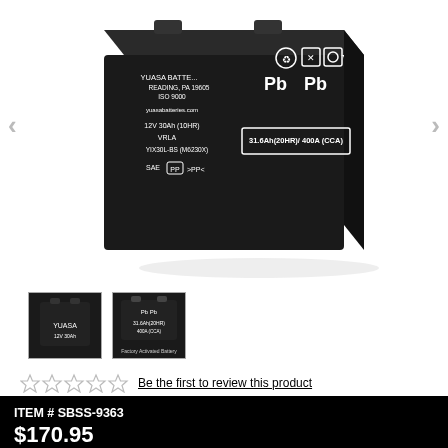[Figure (photo): Yuasa battery product photo showing top/front of a black battery with white text: YUASA BATTERY INC, READING, PA 19605, ISO 9000, yuasabatteries.com, 12V 30Ah (10HR), VRLA, YIX30L-BS (M6230X), SAE PP>PP<, and Pb symbols, plus 31.6Ah(20HR)/400A(CCA) label]
[Figure (photo): Two thumbnail images of the Yuasa battery from different angles]
Be the first to review this product
ITEM # SBSS-9363
BRAND: YUASA
$170.95
OR
Ships in 1-2 business days *FREE SHIPPING*
YEAR AND MODEL*: